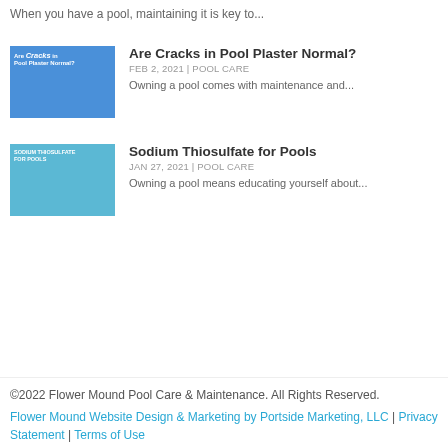When you have a pool, maintaining it is key to...
[Figure (photo): Thumbnail image for 'Are Cracks in Pool Plaster Normal?' article]
Are Cracks in Pool Plaster Normal?
FEB 2, 2021 | POOL CARE
Owning a pool comes with maintenance and...
[Figure (photo): Thumbnail image for 'Sodium Thiosulfate for Pools' article]
Sodium Thiosulfate for Pools
JAN 27, 2021 | POOL CARE
Owning a pool means educating yourself about...
©2022 Flower Mound Pool Care & Maintenance. All Rights Reserved. Flower Mound Website Design & Marketing by Portside Marketing, LLC | Privacy Statement | Terms of Use